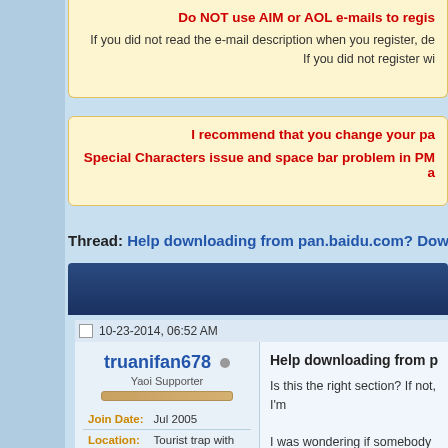Do NOT use AIM or AOL e-mails to regis
If you did not read the e-mail description when you register, de
If you did not register wi
I recommend that you change your pa
Special Characters issue and space bar problem in PM a
Thread: Help downloading from pan.baidu.com? Downloads a
10-23-2014, 06:52 AM
truanifan678
Yaoi Supporter
Join Date: Jul 2005
Location: Tourist trap with really big mice...
Help downloading from pan.b
Is this the right section? If not, I'm
I was wondering if somebody coul and for some reason they're alway broswers on my sister's Windows _ ; )